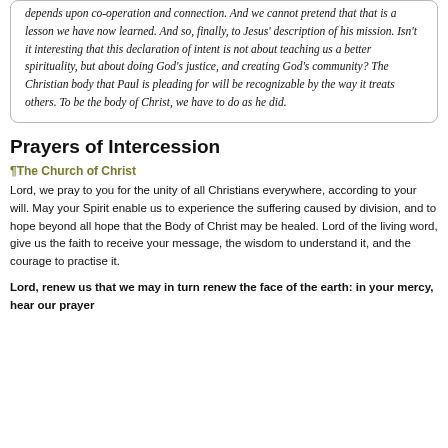depends upon co-operation and connection. And we cannot pretend that that is a lesson we have now learned. And so, finally, to Jesus' description of his mission. Isn't it interesting that this declaration of intent is not about teaching us a better spirituality, but about doing God's justice, and creating God's community? The Christian body that Paul is pleading for will be recognizable by the way it treats others. To be the body of Christ, we have to do as he did.
Prayers of Intercession
¶The Church of Christ
Lord, we pray to you for the unity of all Christians everywhere, according to your will. May your Spirit enable us to experience the suffering caused by division, and to hope beyond all hope that the Body of Christ may be healed. Lord of the living word, give us the faith to receive your message, the wisdom to understand it, and the courage to practise it.
Lord, renew us that we may in turn renew the face of the earth: in your mercy, hear our prayer